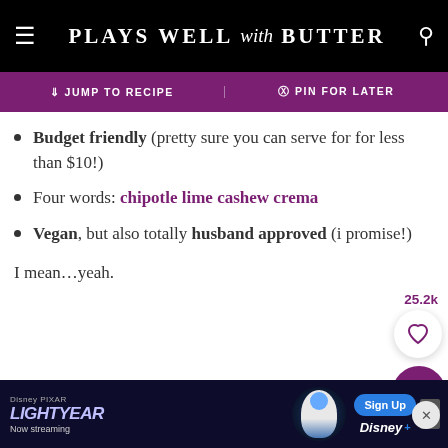PLAYS WELL with BUTTER
↓ JUMP TO RECIPE   PIN FOR LATER
Budget friendly (pretty sure you can serve for for less than $10!)
Four words: chipotle lime cashew crema
Vegan, but also totally husband approved (i promise!)
I mean…yeah.
[Figure (screenshot): Disney Pixar Lightyear ad banner at the bottom of the page with Sign Up button]